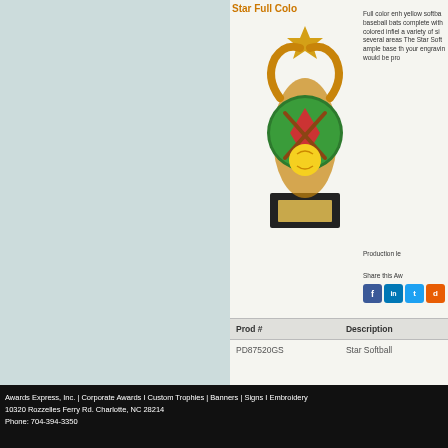Star Full Colo
[Figure (photo): Star Softball trophy figurine with gold star on top, green circular backdrop with crossed baseball bats, yellow softball, on a black base with gold engraving plate]
Full color enh yellow softba baseball bats complete with colored infiel a variety of si several areas The Star Soft ample base th your engravin would be pro
Production le
Share this Aw
| Prod # | Description |
| --- | --- |
| PD87520GS | Star Softball |
Stay Connected:
[Figure (logo): Facebook logo icon in blue square]
Become a fan on Facebook
Awards Express, Inc. | Corporate Awards I Custom Trophies | Banners | Signs I Embroidery
10320 Rozzelles Ferry Rd. Charlotte, NC 28214
Phone: 704-394-3350